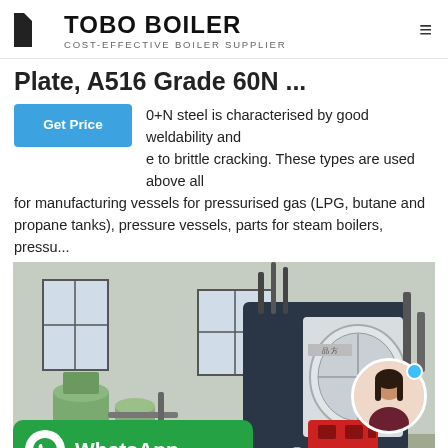TOBO BOILER — COST-EFFECTIVE BOILER SUPPLIER
Plate, A516 Grade 60N ...
0+N steel is characterised by good weldability and resistance to brittle cracking. These types are used above all for manufacturing vessels for pressurised gas (LPG, butane and propane tanks), pressure vessels, parts for steam boilers, pressu...
[Figure (photo): Industrial boiler installation inside a factory building. A large dark-colored cylindrical steam boiler is shown with a red burner unit at the front. To the left are green water filtration tanks and industrial piping. A WhatsApp contact button overlay is in the lower left, and a circular chat avatar of a woman is in the lower right of the image.]